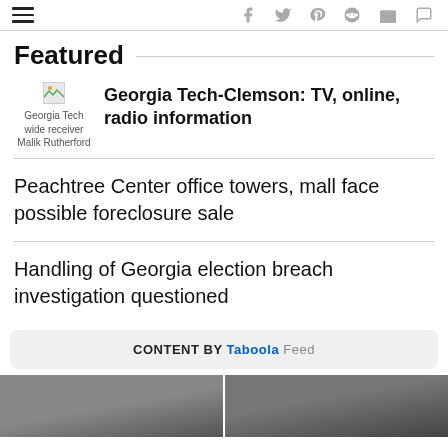Navigation and social icons bar
Featured
[Figure (photo): Thumbnail of Georgia Tech wide receiver Malik Rutherford]
Georgia Tech-Clemson: TV, online, radio information
Peachtree Center office towers, mall face possible foreclosure sale
Handling of Georgia election breach investigation questioned
CONTENT BY Taboola Feed
[Figure (photo): Bottom street scene photo strip]